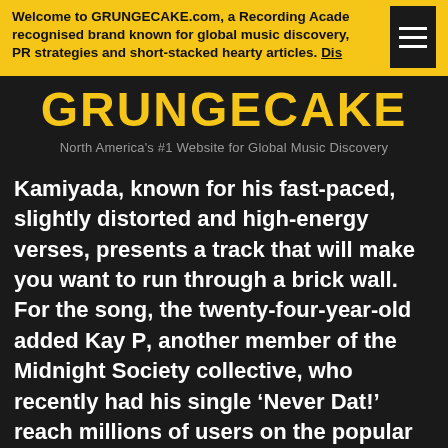Welcome to GRUNGECAKE.com, a Recording Academy recognised brand known for global music discovery, PR strategies and short-stacked hearty articles. Dis
GRUNGECAKE
North America's #1 Website for Global Music Discovery
Kamiyada, known for his fast-paced, slightly distorted and high-energy verses, presents a track that will make you want to run through a brick wall. For the song, the twenty-four-year-old added Kay P, another member of the Midnight Society collective, who recently had his single ‘Never Dat!’ reach millions of users on the popular app, TikTok. The featured artist takes on the second half of the song creating a beautiful contrast of the two rappers styles on one track.